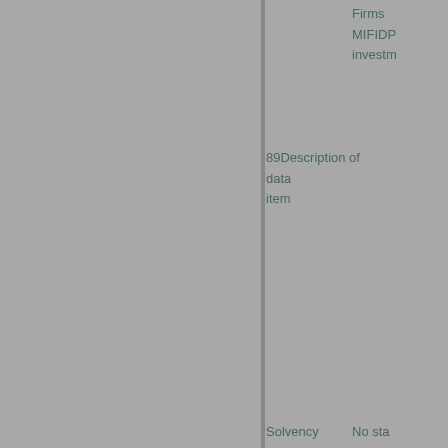| Description of data item | Firms / MIFIDPRU investment... |
| --- | --- |
| Solvency statement (note 2) | No standard format... FSA02 (note 3) FSA03 (note 3) |
| Balance sheet | FSA02 (note 3) |
| Income statement | FSA03 (note 3) |
| Capital adequacy | MIF001 (note 3) |
| ICARA assessment | MIF007 |